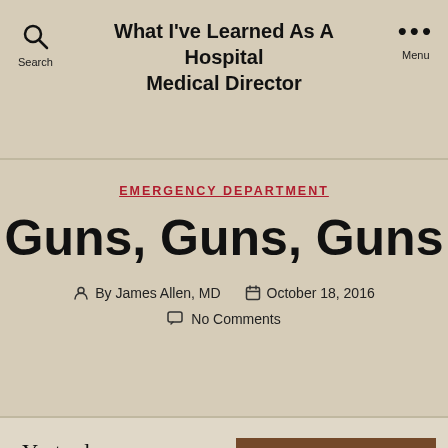What I've Learned As A Hospital Medical Director
EMERGENCY DEPARTMENT
Guns, Guns, Guns
By James Allen, MD   October 18, 2016   No Comments
[Figure (photo): Close-up photo of a dark semi-automatic handgun on a wooden surface]
Yesterday, a man was shot a couple of miles from our